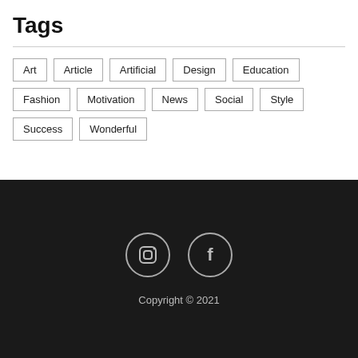Tags
Art
Article
Artificial
Design
Education
Fashion
Motivation
News
Social
Style
Success
Wonderful
[Figure (illustration): Social media icons: Instagram and Facebook, in circles, on dark background]
Copyright © 2021